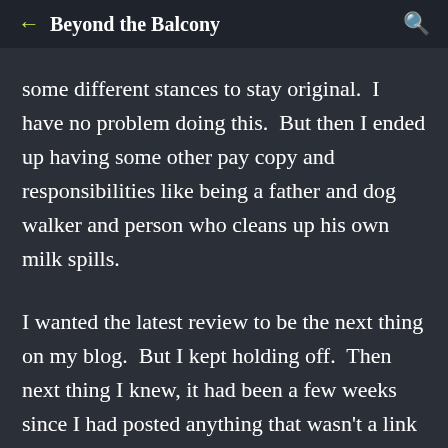Beyond the Balcony
some different stances to stay original.  I have no problem doing this.  But then I ended up having some other pay copy and responsibilities like being a father and dog walker and person who cleans up his own milk spills.
I wanted the latest review to be the next thing on my blog.  But I kept holding off.  Then next thing I knew, it had been a few weeks since I had posted anything that wasn't a link or a podcast.  In my crazy head, I wanted to make sure the next thing I posted that was original would be a pretty